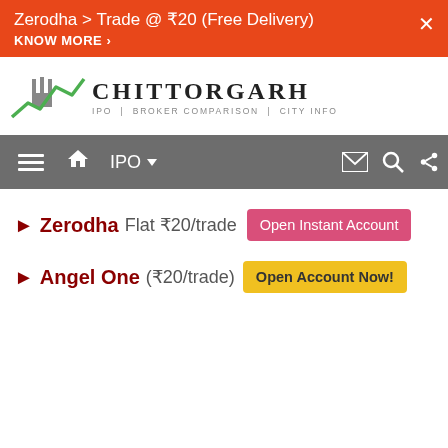Zerodha > Trade @ ₹20 (Free Delivery)
KNOW MORE ›
[Figure (logo): Chittorgarh logo with green line chart icon and castle silhouette, text: CHITTORGARH, tagline: IPO | BROKER COMPARISON | CITY INFO]
≡  🏠  IPO ▾  ✉  🔍  ≪
► Zerodha Flat ₹20/trade  [Open Instant Account]
► Angel One (₹20/trade)  [Open Account Now!]